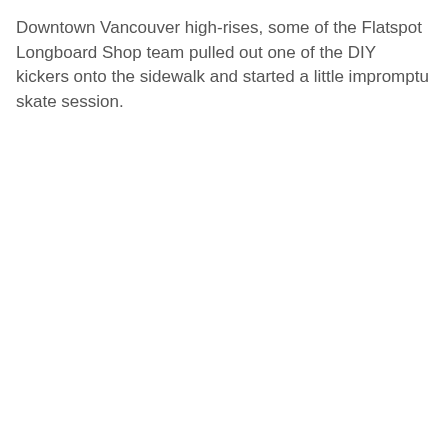Downtown Vancouver high-rises, some of the Flatspot Longboard Shop team pulled out one of the DIY kickers onto the sidewalk and started a little impromptu skate session.